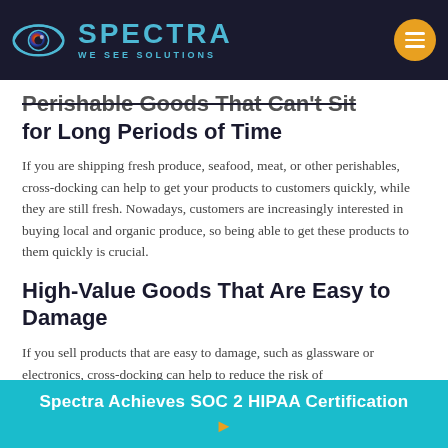SPECTRA — WE SEE SOLUTIONS
Perishable Goods That Can't Sit for Long Periods of Time
If you are shipping fresh produce, seafood, meat, or other perishables, cross-docking can help to get your products to customers quickly, while they are still fresh. Nowadays, customers are increasingly interested in buying local and organic produce, so being able to get these products to them quickly is crucial.
High-Value Goods That Are Easy to Damage
If you sell products that are easy to damage, such as glassware or electronics, cross-docking can help to reduce the risk of
Spectra Achieves SOC 2 HIPAA Certification